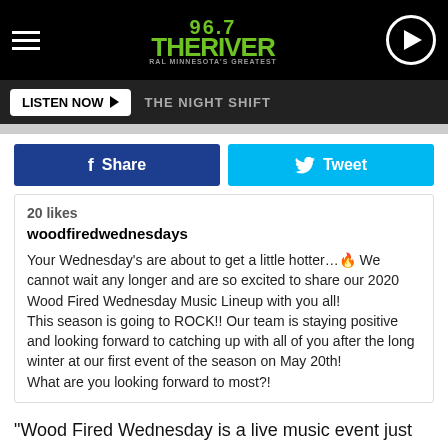[Figure (logo): 96.7 The River radio station logo and navigation bar with hamburger menu and play button]
LISTEN NOW ▶  THE NIGHT SHIFT
[Figure (infographic): Facebook Share and Twitter Tweet social sharing buttons]
20 likes
woodfiredwednesdays

Your Wednesday's are about to get a little hotter…🔥 We cannot wait any longer and are so excited to share our 2020 Wood Fired Wednesday Music Lineup with you all!
This season is going to ROCK!! Our team is staying positive and looking forward to catching up with all of you after the long winter at our first event of the season on May 20th!
What are you looking forward to most?!
"Wood Fired Wednesday is a live music event just for adults," the website concludes. "We want everyone to be able to relax and enjoy a night away. The atmosphere isn't intended for